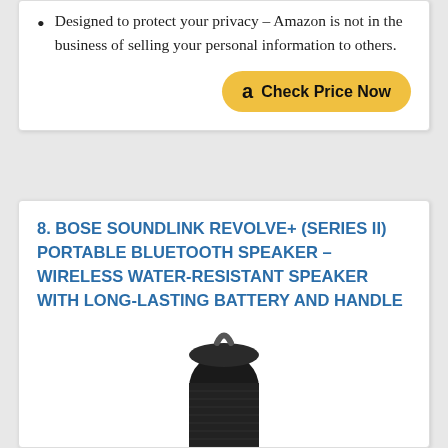Designed to protect your privacy – Amazon is not in the business of selling your personal information to others.
Check Price Now
8. BOSE SOUNDLINK REVOLVE+ (SERIES II) PORTABLE BLUETOOTH SPEAKER – WIRELESS WATER-RESISTANT SPEAKER WITH LONG-LASTING BATTERY AND HANDLE
[Figure (photo): Bose SoundLink Revolve+ portable Bluetooth speaker in black color, cylindrical shape with a handle on top]